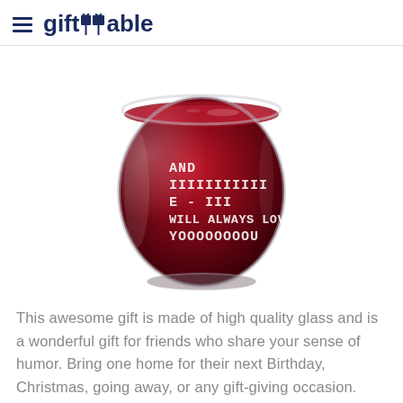giftTable
[Figure (photo): A stemless wine glass filled with dark red wine, with white text on the glass reading: AND IIIIIIIIIII E - III WILL ALWAYS LOVE YOOOOOOOOU]
This awesome gift is made of high quality glass and is a wonderful gift for friends who share your sense of humor. Bring one home for their next Birthday, Christmas, going away, or any gift-giving occasion.